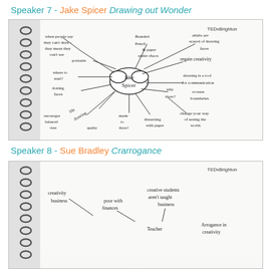Speaker 7 - Jake Spicer Drawing out Wonder
[Figure (photo): Hand-drawn mind map on notebook paper showing Jake Spicer in center cloud with branches: 'when people say they can't draw - they mean they cant see', 'portraits', 'where to start?', 'dotting faces', 'life drawing', 'encourages balanced view', 'quality', 'made to draw', 'dissecting with paper', 'why draw?', 'change your way of seeing the world', 'crosses boundaries', 'drawing is a tool for communication', 'regain creativity', 'Branded pencil & paper under chaos', 'adults are scared of drawing faces'. TedxBrighton watermark visible.]
Speaker 8 - Sue Bradley Crarrogance
[Figure (photo): Partial hand-drawn mind map on notebook paper. Visible text includes: 'creativity', 'business', 'poor with finances', 'creative students aren't taught business', 'Teacher', 'Arrogance in creativity'. TedxBrighton watermark visible. Image is cropped.]